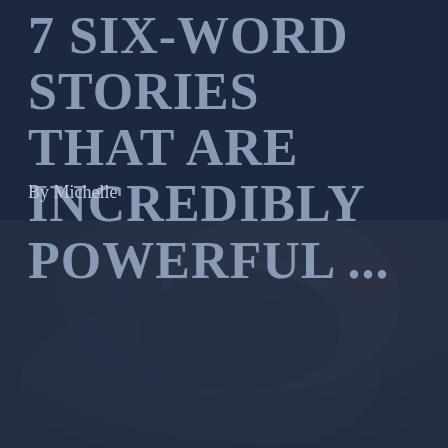7 SIX-WORD STORIES THAT ARE INCREDIBLY POWERFUL ...
By Michelle
[Figure (photo): Dark-toned image of a person lying down or resting, partially obscured by a dark blue overlay, with faint reddish colors visible. The image serves as a background for the lower half of the page.]